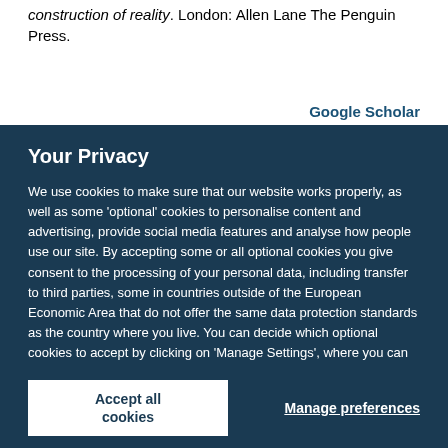construction of reality. London: Allen Lane The Penguin Press.
Google Scholar
Your Privacy
We use cookies to make sure that our website works properly, as well as some 'optional' cookies to personalise content and advertising, provide social media features and analyse how people use our site. By accepting some or all optional cookies you give consent to the processing of your personal data, including transfer to third parties, some in countries outside of the European Economic Area that do not offer the same data protection standards as the country where you live. You can decide which optional cookies to accept by clicking on 'Manage Settings', where you can also find more information about how your personal data is processed. Further information can be found in our privacy policy.
Accept all cookies
Manage preferences